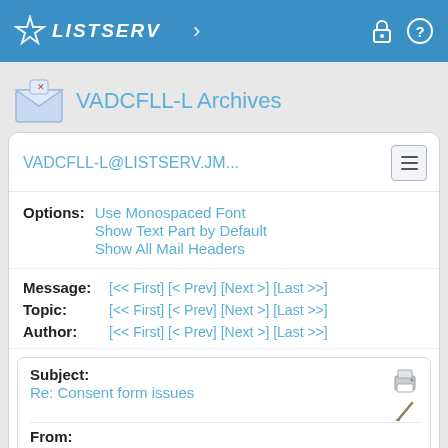LISTSERV
VADCFLL-L Archives
VADCFLL-L@LISTSERV.JM...
Options: Use Monospaced Font Show Text Part by Default Show All Mail Headers
Message: [<< First] [< Prev] [Next >] [Last >>]
Topic: [<< First] [< Prev] [Next >] [Last >>]
Author: [<< First] [< Prev] [Next >] [Last >>]
Subject:
Re: Consent form issues
From:
Darlene Pantaleo <[log in to unmask]>
Reply To:
Darlene Pantaleo <[log in to unmask]>